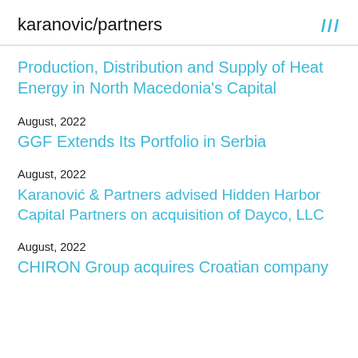karanovic/partners ///
Production, Distribution and Supply of Heat Energy in North Macedonia’s Capital
August, 2022
GGF Extends Its Portfolio in Serbia
August, 2022
Karanović & Partners advised Hidden Harbor Capital Partners on acquisition of Dayco, LLC
August, 2022
CHIRON Group acquires Croatian company